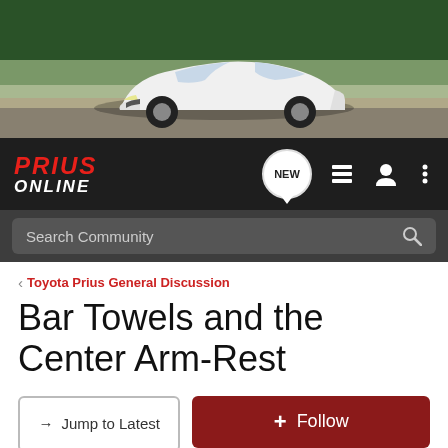[Figure (photo): White Toyota Prius driving on a road with green trees in background, hero banner image]
[Figure (logo): Prius Online forum logo - red italic PRIUS text above white ONLINE text on dark background, with navigation icons (NEW bubble, list icon, user icon, menu dots)]
Search Community
< Toyota Prius General Discussion
Bar Towels and the Center Arm-Rest
→ Jump to Latest
+ Follow
1 - 14 of 14 Posts